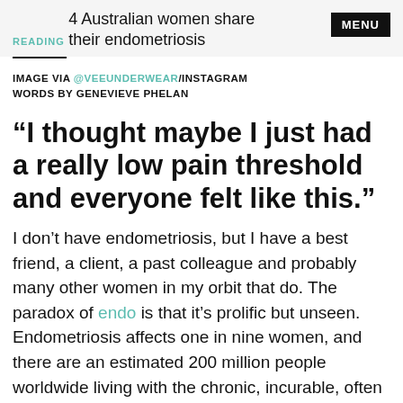READING
4 Australian women share their endometriosis
IMAGE VIA @VEEUNDERWEAR/INSTAGRAM
WORDS BY GENEVIEVE PHELAN
“I thought maybe I just had a really low pain threshold and everyone felt like this.”
I don’t have endometriosis, but I have a best friend, a client, a past colleague and probably many other women in my orbit that do. The paradox of endo is that it’s prolific but unseen. Endometriosis affects one in nine women, and there are an estimated 200 million people worldwide living with the chronic, incurable, often misdiagnosed, and invisible-from-the-outside